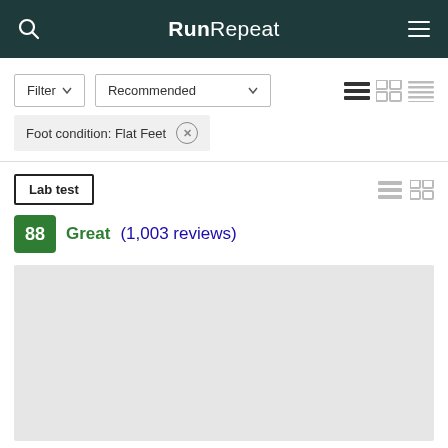RunRepeat
Filter ▼   Recommended ▼
Foot condition: Flat Feet ×
Lab test
88  Great (1,003 reviews)
[Figure (other): Product image placeholder (grey rectangle)]